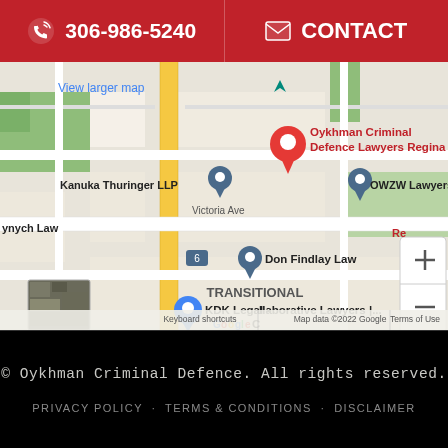306-986-5240  CONTACT
[Figure (map): Google Maps screenshot showing Oykhman Criminal Defence Lawyers Regina and nearby law firms including Kanuka Thuringer LLP, OWZW Lawyers LLP, Don Findlay Law, KDK Legal - Collaborative Lawyers. Map data ©2022 Google.]
© Oykhman Criminal Defence. All rights reserved.
PRIVACY POLICY · TERMS & CONDITIONS · DISCLAIMER